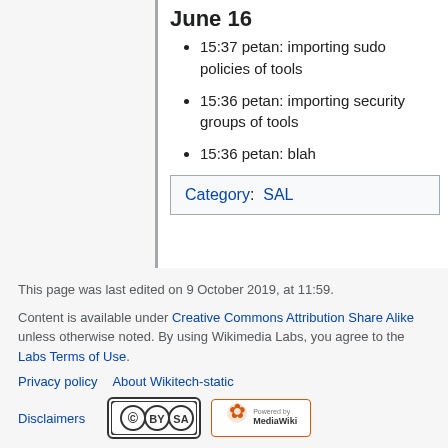June 16
15:37 petan: importing sudo policies of tools
15:36 petan: importing security groups of tools
15:36 petan: blah
Category:  SAL
This page was last edited on 9 October 2019, at 11:59.
Content is available under Creative Commons Attribution Share Alike unless otherwise noted. By using Wikimedia Labs, you agree to the Labs Terms of Use.
Privacy policy   About Wikitech-static
Disclaimers